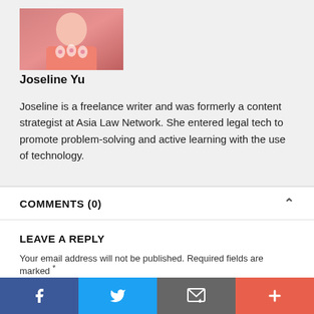[Figure (photo): Photo of Joseline Yu wearing a coral/pink blazer]
Joseline Yu
Joseline is a freelance writer and was formerly a content strategist at Asia Law Network. She entered legal tech to promote problem-solving and active learning with the use of technology.
COMMENTS (0)
LEAVE A REPLY
Your email address will not be published. Required fields are marked *
YOUR COMMENT
[Figure (infographic): Social share bar with Facebook, Twitter, email/share, and plus buttons]